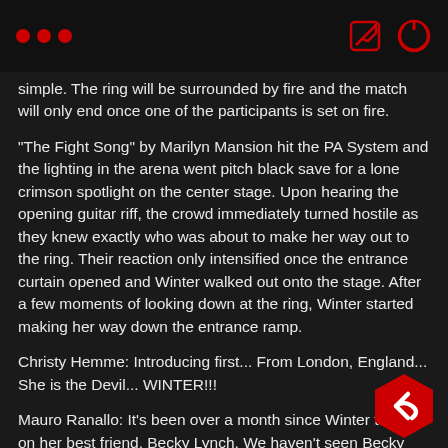… [header bar with dots and icons]
simple. The ring will be surrounded by fire and the match will only end once one of the participants is set on fire.
"The Fight Song" by Marilyn Mansion hit the PA System and the lighting in the arena went pitch black save for a lone crimson spotlight on the center stage. Upon hearing the opening guitar riff, the crowd immediately turned hostile as they knew exactly who was about to make her way out to the ring. Their reaction only intensified once the entrance curtain opened and Winter walked out onto the stage. After a few moments of looking down at the ring, Winter started making her way down the entrance ramp.
Christy Hemme: Introducing first... From London, England... She is the Devil... WINTER!!!
Mauro Ranallo: It's been over a month since Winter turned on her best friend, Becky Lynch. We haven't seen Becky since.
Nigel McGuinness: Since then, Winter has been on a rampage, destroying all that's been put in front of her.
Winter made her way to ringside and climbed up onto the apron, be the ropes and the heating unit. After pausing for a few moments, Wi...